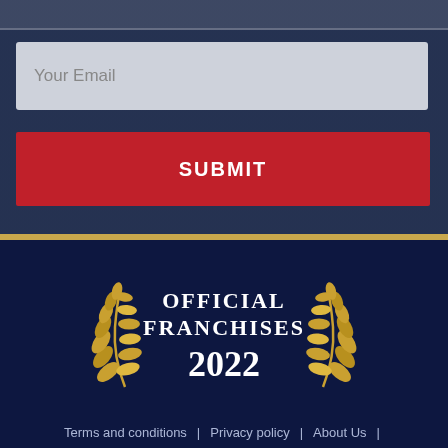Your Email
SUBMIT
[Figure (logo): Official Franchises 2022 badge with golden laurel wreath on dark navy background]
Terms and conditions  |  Privacy policy  |  About Us  |